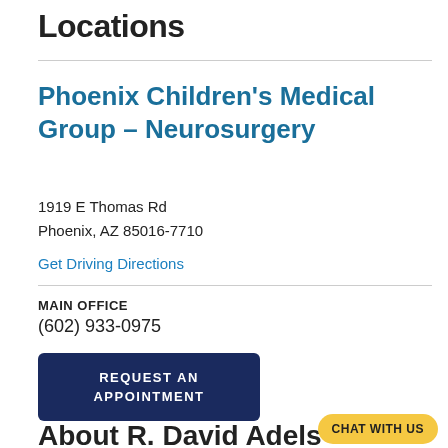Locations
Phoenix Children's Medical Group - Neurosurgery
1919 E Thomas Rd
Phoenix, AZ 85016-7710
Get Driving Directions
MAIN OFFICE
(602) 933-0975
REQUEST AN APPOINTMENT
About R. David Adels